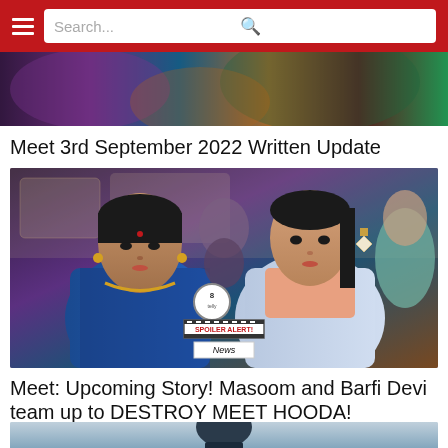Search...
[Figure (photo): Partial view of people in colorful traditional Indian attire (sarees), cropped at top of page]
Meet 3rd September 2022 Written Update
[Figure (photo): TV serial scene showing two Indian women, one elderly in blue saree with jewelry and bindi, one younger woman with earrings in light blue attire. A spoiler alert watermark badge is visible in the center.]
Meet: Upcoming Story! Masoom and Barfi Devi team up to DESTROY MEET HOODA!
[Figure (photo): Partial view of a man in a suit, cropped at bottom of page]